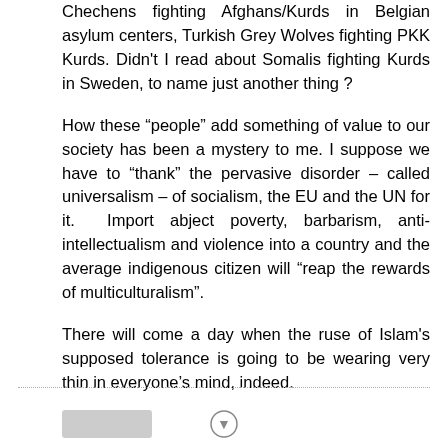Chechens fighting Afghans/Kurds in Belgian asylum centers, Turkish Grey Wolves fighting PKK Kurds. Didn't I read about Somalis fighting Kurds in Sweden, to name just another thing ?
How these “people” add something of value to our society has been a mystery to me. I suppose we have to “thank” the pervasive disorder – called universalism – of socialism, the EU and the UN for it. Import abject poverty, barbarism, anti-intellectualism and violence into a country and the average indigenous citizen will “reap the rewards of multiculturalism”.
There will come a day when the ruse of Islam's supposed tolerance is going to be wearing very thin in everyone’s mind, indeed.